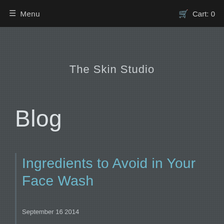☰ Menu    🛒 Cart: 0
The Skin Studio
Blog
Ingredients to Avoid in Your Face Wash
September 16 2014
Did you know that what you apply to your skin is absorbed directly into your body? But if you've ever look at the ingredients in your favorite facial cleanser you will notice a long list of ingredients you don't recognize, and